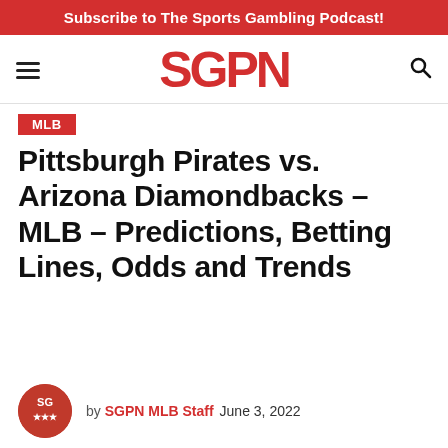Subscribe to The Sports Gambling Podcast!
[Figure (logo): SGPN logo in red bold letters, hamburger menu icon on left, search icon on right]
MLB
Pittsburgh Pirates vs. Arizona Diamondbacks – MLB – Predictions, Betting Lines, Odds and Trends
by SGPN MLB Staff  June 3, 2022